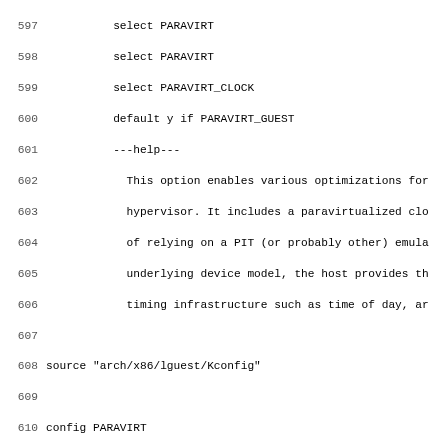Code listing showing Linux kernel Kconfig entries for PARAVIRT, PARAVIRT_CLOCK, PARAVIRT_SPINLOCKS, lines 597-628+